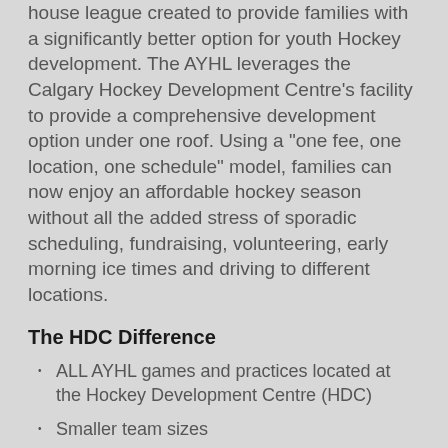house league created to provide families with a significantly better option for youth Hockey development. The AYHL leverages the Calgary Hockey Development Centre's facility to provide a comprehensive development option under one roof. Using a "one fee, one location, one schedule" model, families can now enjoy an affordable hockey season without all the added stress of sporadic scheduling, fundraising, volunteering, early morning ice times and driving to different locations.
The HDC Difference
ALL AYHL games and practices located at the Hockey Development Centre (HDC)
Smaller team sizes
HDC ice (1:2 ratio of an NHL ice surface, with all line markings)
No fundraising/cash calls/volunteering